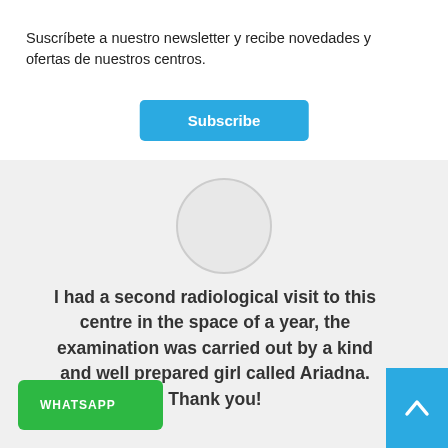Suscríbete a nuestro newsletter y recibe novedades y ofertas de nuestros centros.
[Figure (screenshot): Blue Subscribe button]
[Figure (illustration): Gray circular avatar placeholder]
I had a second radiological visit to this centre in the space of a year, the examination was carried out by a kind and well prepared girl called Ariadna. Thank you!
[Figure (screenshot): Green WhatsApp button]
[Figure (screenshot): Blue scroll-up arrow button]